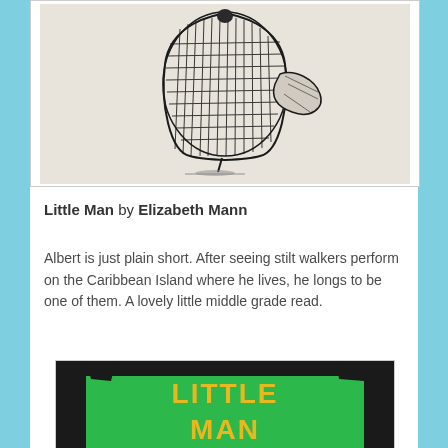[Figure (illustration): Pencil sketch illustration of a small figure wearing a large textured coat or cloak, balancing on a thin point, viewed from behind or side]
Little Man by Elizabeth Mann
Albert is just plain short. After seeing stilt walkers perform on the Caribbean Island where he lives, he longs to be one of them. A lovely little middle grade read.
[Figure (photo): Book cover of Little Man showing bold yellow text LITTLE MAN on a green and black background]